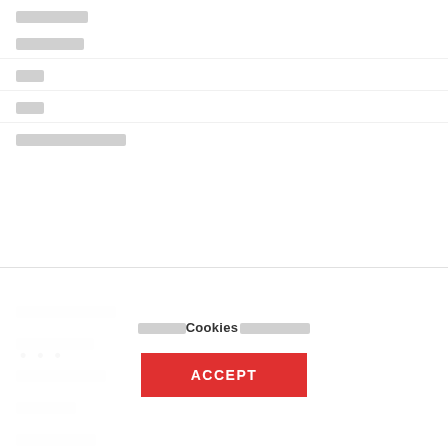[redacted menu item 1]
[redacted menu item 2]
[redacted menu item 3]
[redacted menu item 4]
[redacted menu item 5]
[redacted menu item 6]
[redacted menu item 7]
[redacted menu item 8]
[redacted menu item 9]
[redacted menu item 10]
• • •
[redacted Cookies notice text] Cookies [redacted]
ACCEPT